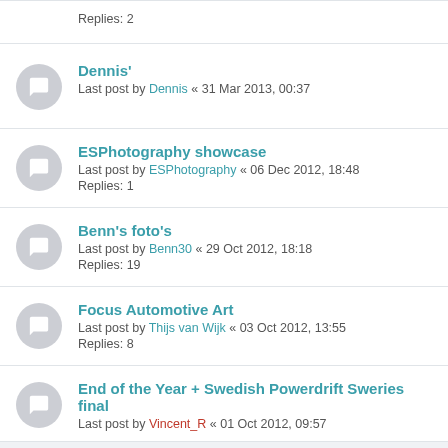Replies: 2
Dennis'
Last post by Dennis « 31 Mar 2013, 00:37
ESPhotography showcase
Last post by ESPhotography « 06 Dec 2012, 18:48
Replies: 1
Benn's foto's
Last post by Benn30 « 29 Oct 2012, 18:18
Replies: 19
Focus Automotive Art
Last post by Thijs van Wijk « 03 Oct 2012, 13:55
Replies: 8
End of the Year + Swedish Powerdrift Sweries final
Last post by Vincent_R « 01 Oct 2012, 09:57